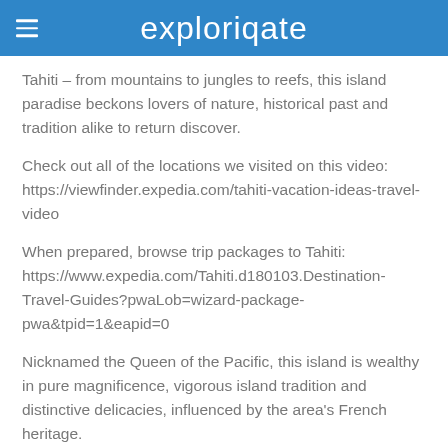exploriqate
Tahiti – from mountains to jungles to reefs, this island paradise beckons lovers of nature, historical past and tradition alike to return discover.
Check out all of the locations we visited on this video: https://viewfinder.expedia.com/tahiti-vacation-ideas-travel-video
When prepared, browse trip packages to Tahiti: https://www.expedia.com/Tahiti.d180103.Destination-Travel-Guides?pwaLob=wizard-package-pwa&tpid=1&eapid=0
Nicknamed the Queen of the Pacific, this island is wealthy in pure magnificence, vigorous island tradition and distinctive delicacies, influenced by the area's French heritage.